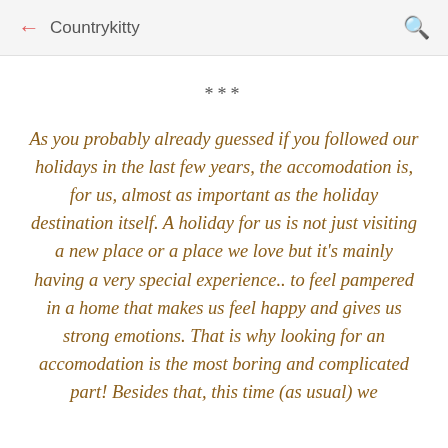← Countrykitty 🔍
***
As you probably already guessed if you followed our holidays in the last few years, the accomodation is, for us, almost as important as the holiday destination itself. A holiday for us is not just visiting a new place or a place we love but it's mainly having a very special experience.. to feel pampered in a home that makes us feel happy and gives us strong emotions. That is why looking for an accomodation is the most boring and complicated part! Besides that, this time (as usual) we